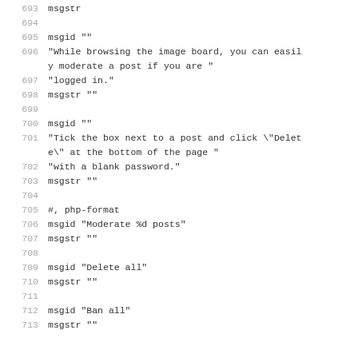693  msgstr
694
695  msgid ""
696  "While browsing the image board, you can easily moderate a post if you are "
697  "logged in."
698  msgstr ""
699
700  msgid ""
701  "Tick the box next to a post and click \"Delete\" at the bottom of the page "
702  "with a blank password."
703  msgstr ""
704
705  #, php-format
706  msgid "Moderate %d posts"
707  msgstr ""
708
709  msgid "Delete all"
710  msgstr ""
711
712  msgid "Ban all"
713  msgstr ""